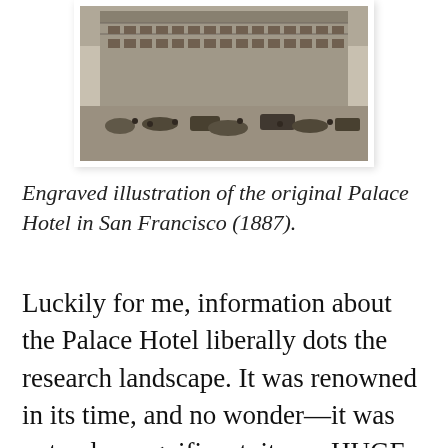[Figure (illustration): Black and white engraved illustration of a busy city street scene in front of the original Palace Hotel in San Francisco, circa 1887. The building is large and ornate with many stories visible. Horse-drawn carriages and people fill the street in front.]
Engraved illustration of the original Palace Hotel in San Francisco (1887).
Luckily for me, information about the Palace Hotel liberally dots the research landscape. It was renowned in its time, and no wonder—it was not only magnificent, it was HUGE, seven stories tall and covering an entire city block downtown. Each of its 755 guest rooms had a bay window